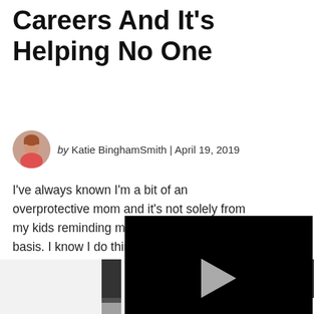Careers And It’s Helping No One
by Katie BinghamSmith | April 19, 2019
I’ve always known I’m a bit of an overprotective mom and it’s not solely from my kids reminding me of this on a daily basis. I know I do things a lot of other parents may better—like texting at a sleepover.…
CONTINUE R
[Figure (screenshot): Embedded video player with black background, play button in center, progress bar, and controls showing mute icon, timestamp 01:33, grid icon, settings icon, and fullscreen icon.]
[Figure (photo): Bottom strip showing partial silhouettes and reflections of objects on a light/white background, cropped at bottom of page.]